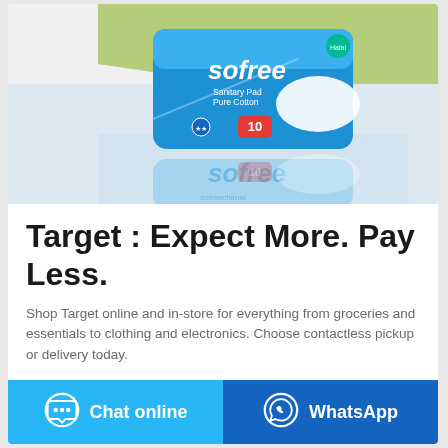[Figure (photo): Product photo of Sofree Sanitary Pad Pure Cotton package (blue packaging, count 10) placed on a reflective surface with green and grey background]
Target : Expect More. Pay Less.
Shop Target online and in-store for everything from groceries and essentials to clothing and electronics. Choose contactless pickup or delivery today.
Chat online
WhatsApp